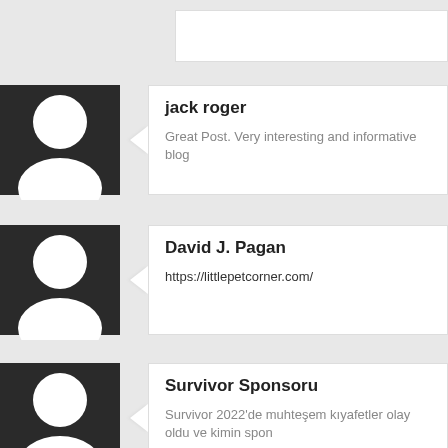[Figure (illustration): User avatar silhouette icon (white person silhouette on black background) for jack roger]
jack roger
Great Post. Very interesting and informative blog
[Figure (illustration): User avatar silhouette icon (white person silhouette on black background) for David J. Pagan]
David J. Pagan
https://littlepetcorner.com/
[Figure (illustration): User avatar silhouette icon (white person silhouette on black background) for Survivor Sponsoru]
Survivor Sponsoru
Survivor 2022'de muhteşem kıyafetler olay oldu ve kimin spon